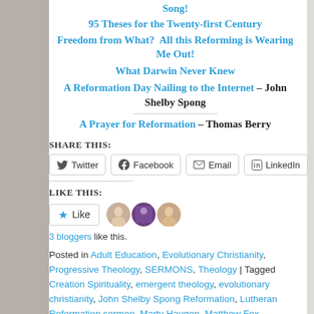Song!
95 Theses for the Twenty-first Century
Freedom from What?  All this Reforming is Wearing Me Out!
What Darwin Never Knew
A Reformation Day Nailing to the Internet – John Shelby Spong
A Prayer for Reformation – Thomas Berry
SHARE THIS:
Twitter | Facebook | Email | LinkedIn
LIKE THIS:
Like | 3 bloggers like this.
Posted in Adult Education, Evolutionary Christianity, Progressive Theology, SERMONS, Theology | Tagged Creation Spirituality, emergent theology, evolutionary christianity, John Shelby Spong Reformation, Lutheran Reformation sermon, Marty Haugen, Matthew Fox Reformation, progressive Christian Reformation sermon,